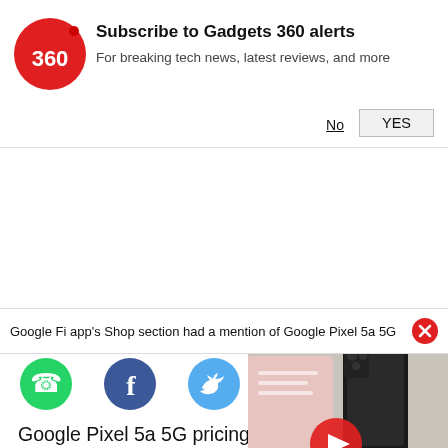[Figure (logo): Gadgets 360 red circular logo with '360' text]
Subscribe to Gadgets 360 alerts
For breaking tech news, latest reviews, and more
No
YES
Google Fi app's Shop section had a mention of Google Pixel 5a 5G
[Figure (photo): Smartphone product photo with video play button overlay]
[Figure (logo): WhatsApp green circle icon]
[Figure (logo): Facebook blue circle icon]
[Figure (logo): Twitter light-blue circle icon]
Google Pixel 5a 5G pricing may have leaked by Google in its Google Fi app. Google unveiled